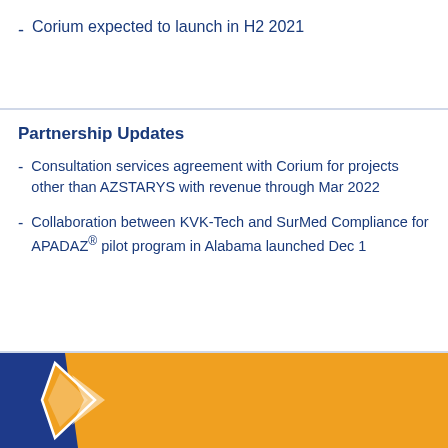Corium expected to launch in H2 2021
Partnership Updates
Consultation services agreement with Corium for projects other than AZSTARYS with revenue through Mar 2022
Collaboration between KVK-Tech and SurMed Compliance for APADAZ® pilot program in Alabama launched Dec 1
[Figure (logo): KVK-Tech logo with blue trapezoid and orange diamond on orange footer bar]